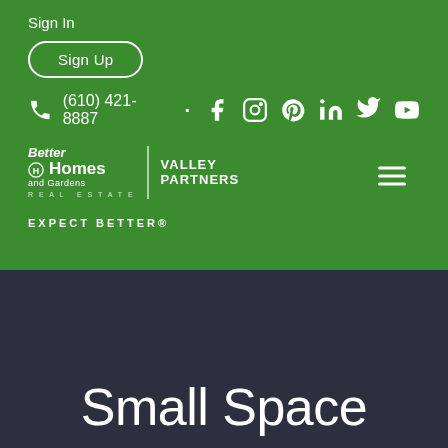Sign In
Sign Up
(610) 421-8887
[Figure (logo): Better Homes and Gardens Real Estate Valley Partners logo with social media icons]
EXPECT BETTER®
Small Space